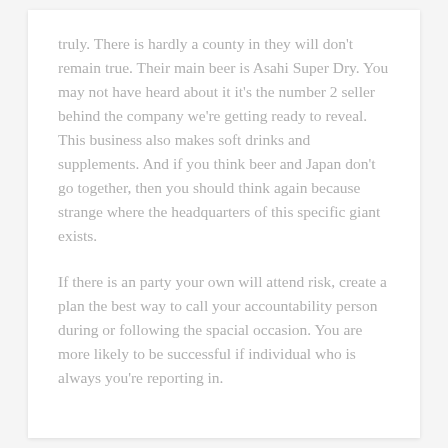truly. There is hardly a county in they will don't remain true. Their main beer is Asahi Super Dry. You may not have heard about it it's the number 2 seller behind the company we're getting ready to reveal. This business also makes soft drinks and supplements. And if you think beer and Japan don't go together, then you should think again because strange where the headquarters of this specific giant exists.
If there is an party your own will attend risk, create a plan the best way to call your accountability person during or following the spacial occasion. You are more likely to be successful if individual who is always you're reporting in.